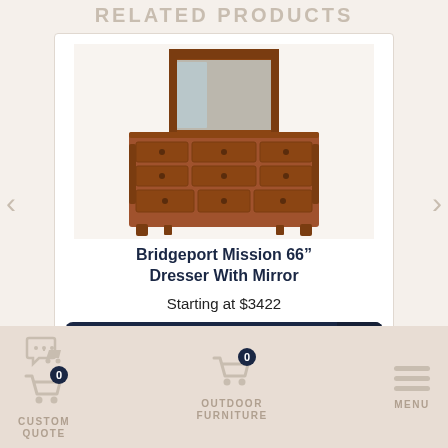RELATED PRODUCTS
[Figure (photo): Wooden dresser with mirror - Bridgeport Mission 66 inch dresser with attached mirror, multiple drawers, solid wood construction in medium brown finish]
Bridgeport Mission 66” Dresser With Mirror
Starting at $3422
How to Shop Our Website +
CUSTOM QUOTE   OUTDOOR FURNITURE   MENU